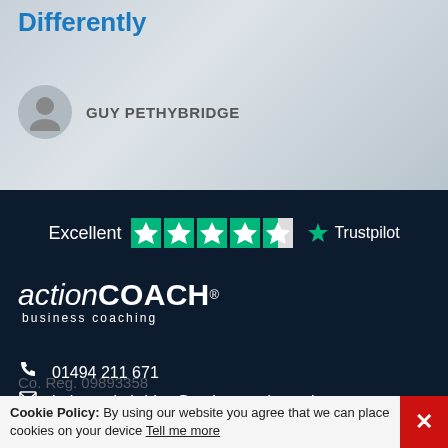Differently
GUY PETHYBRIDGE
[Figure (infographic): Trustpilot Excellent rating with 4.5 green stars and Trustpilot logo]
[Figure (logo): actionCOACH business coaching logo in white on dark background]
01494 211 671
helenpethybridge@actioncoach.co.uk
ActionCOACH Chilterns Central, Terriers House, Amersham Road High Wycombe, HP13 5AJ
Cookie Policy: By using our website you agree that we can place cookies on your device Tell me more